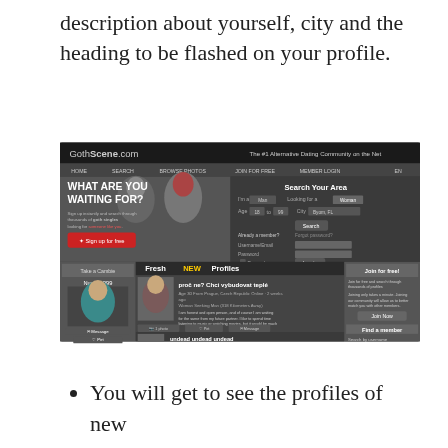description about yourself, city and the heading to be flashed on your profile.
[Figure (screenshot): Screenshot of GothScene.com website — 'The #1 Alternative Dating Community on the Net'. Shows navigation bar with HOME, SEARCH, BROWSE PHOTOS, JOIN FOR FREE, MEMBER LOGIN links. Hero section with text 'WHAT ARE YOU WAITING FOR?' and two gothic-styled people (man with dark hair, woman with red hair). Search Your Area panel on right with fields for gender, age, city and a Search button. Login fields for Username/Email and Password with 'Remember me' checkbox and Log in button. Below: 'Fresh NEW Profiles' section showing profile listings including 'proc ne? Chci vybudovat teple' (Age 30, Prague, Czech Republic) and 'undead undead undead' (Age 34, Leipzig, Germany). Left sidebar shows 'Take a Cambie' with user 'Nuasha999' photo. Right sidebar shows 'Join for free!' and 'Find a member' sections.]
You will get to see the profiles of new